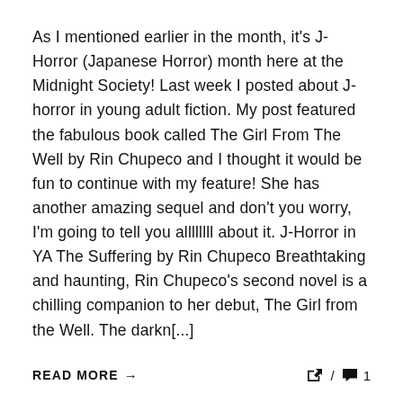As I mentioned earlier in the month, it's J-Horror (Japanese Horror) month here at the Midnight Society! Last week I posted about J-horror in young adult fiction. My post featured the fabulous book called The Girl From The Well by Rin Chupeco and I thought it would be fun to continue with my feature! She has another amazing sequel and don't you worry, I'm going to tell you allllllll about it. J-Horror in YA The Suffering by Rin Chupeco Breathtaking and haunting, Rin Chupeco's second novel is a chilling companion to her debut, The Girl from the Well. The darkn[...]
READ MORE →